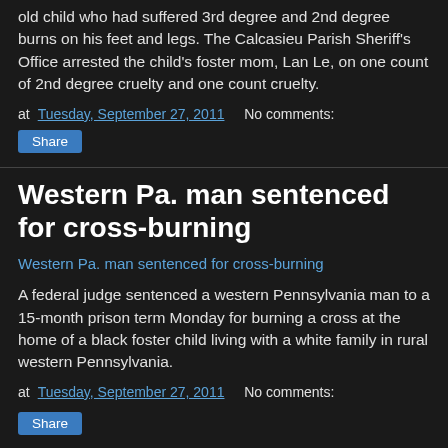old child who had suffered 3rd degree and 2nd degree burns on his feet and legs. The Calcasieu Parish Sheriff's Office arrested the child's foster mom, Lan Le, on one count of 2nd degree cruelty and one count cruelty.
at Tuesday, September 27, 2011   No comments:
Share
Western Pa. man sentenced for cross-burning
Western Pa. man sentenced for cross-burning
A federal judge sentenced a western Pennsylvania man to a 15-month prison term Monday for burning a cross at the home of a black foster child living with a white family in rural western Pennsylvania.
at Tuesday, September 27, 2011   No comments:
Share